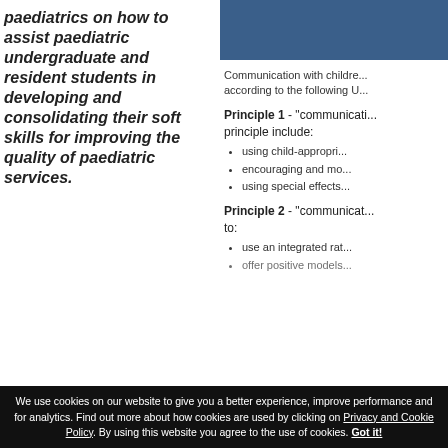paediatrics on how to assist paediatric undergraduate and resident students in developing and consolidating their soft skills for improving the quality of paediatric services.
[Figure (other): Blue decorative bar in right column header area]
Communication with children according to the following U
Principle 1 - "communicati... principle include:
using child-appropri...
encouraging and mo...
using special effects...
Principle 2 - "communicat... to:
use an integrated rat...
offer positive models...
We use cookies on our website to give you a better experience, improve performance and for analytics. Find out more about how cookies are used by clicking on Privacy and Cookie Policy. By using this website you agree to the use of cookies. Got it!